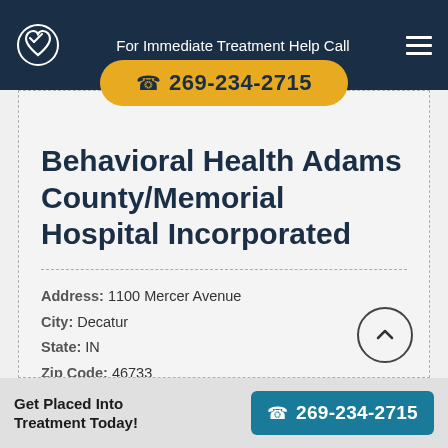For Immediate Treatment Help Call 269-234-2715
Behavioral Health Adams County/Memorial Hospital Incorporated
Address: 1100 Mercer Avenue
City: Decatur
State: IN
Zip Code: 46733
Additional Services That Support The Treatment Process: Detox treatment for benzodiazepines
Get Placed Into Treatment Today!
269-234-2715